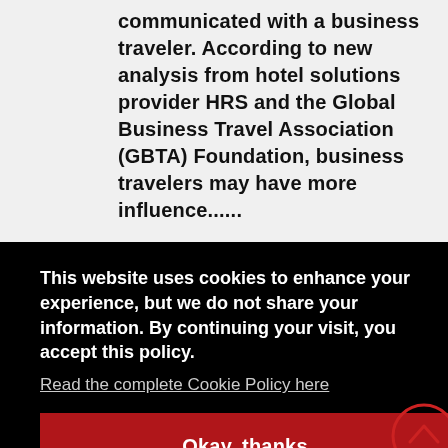communicated with a business traveler. According to new analysis from hotel solutions provider HRS and the Global Business Travel Association (GBTA) Foundation, business travelers may have more influence......
This website uses cookies to enhance your experience, but we do not share your information. By continuing your visit, you accept this policy.
Read the complete Cookie Policy here
Okay, thanks
TRAVEL CHANGES IN 2017